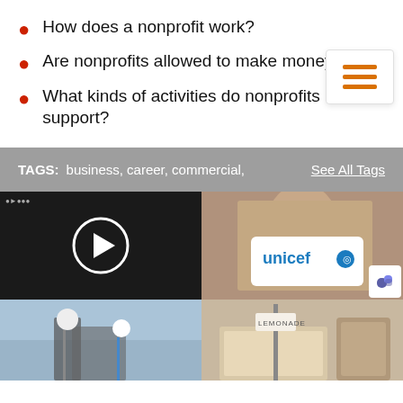How does a nonprofit work?
Are nonprofits allowed to make money?
What kinds of activities do nonprofits support?
[Figure (infographic): Hamburger menu icon with three orange horizontal bars on white background with border]
TAGS: business, career, commercial,    See All Tags
[Figure (photo): Video thumbnail showing hands working, with white play button circle overlay on dark background]
[Figure (photo): Man in white clothing holding a UNICEF sign, brown background]
[Figure (photo): Construction workers on a roof against a blue sky]
[Figure (photo): Lemonade stand sign in front of a house with people nearby]